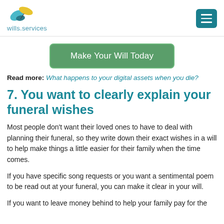wills.services
Make Your Will Today
Read more: What happens to your digital assets when you die?
7. You want to clearly explain your funeral wishes
Most people don't want their loved ones to have to deal with planning their funeral, so they write down their exact wishes in a will to help make things a little easier for their family when the time comes.
If you have specific song requests or you want a sentimental poem to be read out at your funeral, you can make it clear in your will.
If you want to leave money behind to help your family pay for the